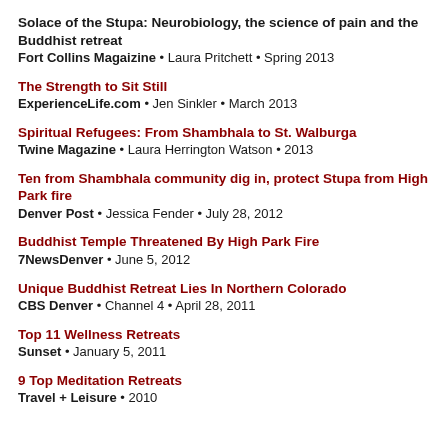Solace of the Stupa: Neurobiology, the science of pain and the Buddhist retreat
Fort Collins Magaizine • Laura Pritchett • Spring 2013
The Strength to Sit Still
ExperienceLife.com • Jen Sinkler • March 2013
Spiritual Refugees: From Shambhala to St. Walburga
Twine Magazine • Laura Herrington Watson • 2013
Ten from Shambhala community dig in, protect Stupa from High Park fire
Denver Post • Jessica Fender • July 28, 2012
Buddhist Temple Threatened By High Park Fire
7NewsDenver • June 5, 2012
Unique Buddhist Retreat Lies In Northern Colorado
CBS Denver • Channel 4 • April 28, 2011
Top 11 Wellness Retreats
Sunset • January 5, 2011
9 Top Meditation Retreats
Travel + Leisure • 2010